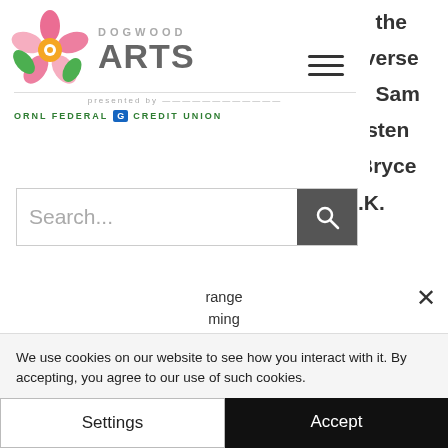[Figure (logo): Dogwood Arts logo with flower graphic and 'ORNL FEDERAL CREDIT UNION' presented by line]
s the iverse y Sam rsten Bryce .K.
[Figure (other): Hamburger menu icon (three horizontal lines)]
Search...
range ming free without downloading anything is by visiting this web page. You can stream Doctor Strange 2 in the Multiverse of Madness online here right now. This film will be released on 17 November 2021 and received an average rating with a 0 IMDb
We use cookies on our website to see how you interact with it. By accepting, you agree to our use of such cookies.
Settings
Accept